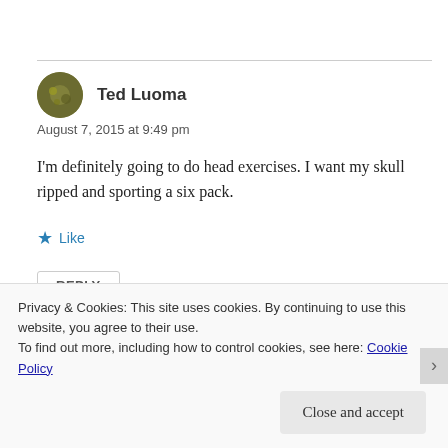Ted Luoma
August 7, 2015 at 9:49 pm
I'm definitely going to do head exercises. I want my skull ripped and sporting a six pack.
Like
REPLY
Privacy & Cookies: This site uses cookies. By continuing to use this website, you agree to their use.
To find out more, including how to control cookies, see here: Cookie Policy
Close and accept